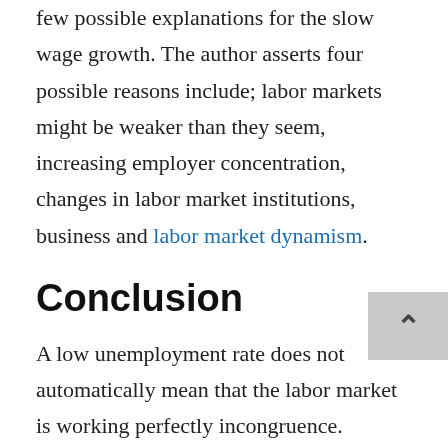few possible explanations for the slow wage growth. The author asserts four possible reasons include; labor markets might be weaker than they seem, increasing employer concentration, changes in labor market institutions, business and labor market dynamism.
Conclusion
A low unemployment rate does not automatically mean that the labor market is working perfectly incongruence. Policymakers should support more market competition, (industry M&A consolidation are bad for competition) so that productivity growth translates into wage growth. Another looming